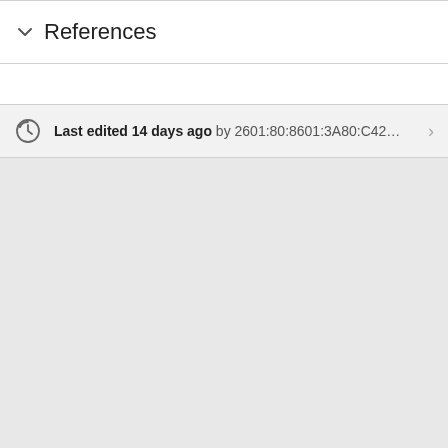References
Last edited 14 days ago by 2601:80:8601:3A80:C42...